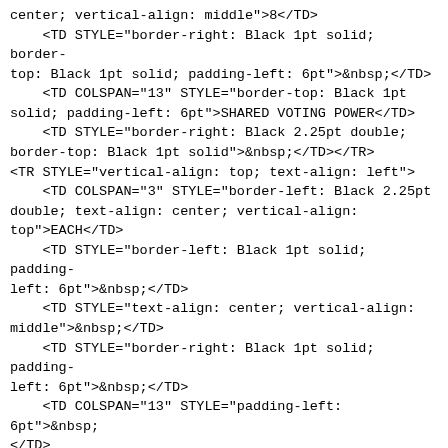center; vertical-align: middle">8</TD>
    <TD STYLE="border-right: Black 1pt solid; border-top: Black 1pt solid; padding-left: 6pt">&nbsp;</TD>
    <TD COLSPAN="13" STYLE="border-top: Black 1pt solid; padding-left: 6pt">SHARED VOTING POWER</TD>
    <TD STYLE="border-right: Black 2.25pt double; border-top: Black 1pt solid">&nbsp;</TD></TR>
<TR STYLE="vertical-align: top; text-align: left">
    <TD COLSPAN="3" STYLE="border-left: Black 2.25pt double; text-align: center; vertical-align: top">EACH</TD>
    <TD STYLE="border-left: Black 1pt solid; padding-left: 6pt">&nbsp;</TD>
    <TD STYLE="text-align: center; vertical-align: middle">&nbsp;</TD>
    <TD STYLE="border-right: Black 1pt solid; padding-left: 6pt">&nbsp;</TD>
    <TD COLSPAN="13" STYLE="padding-left: 6pt">&nbsp;</TD>
    <TD STYLE="border-right: Black 2.25pt double">&nbsp;</TD></TR>
<TR STYLE="vertical-align: top; text-align: left">
    <TD COLSPAN="3" STYLE="border-left: Black 2.25pt double; text-align: center; vertical-align: top">REPORTING</TD>
    <TD STYLE="border-left: Black 1pt solid; padding-left: 6pt">&nbsp;</TD>
    <TD STYLE="text-align: center; vertical-align: middle">&nbsp;</TD>
    <TD STYLE="border-right: Black 1pt solid; padding-left: 6pt">&nbsp;</TD>